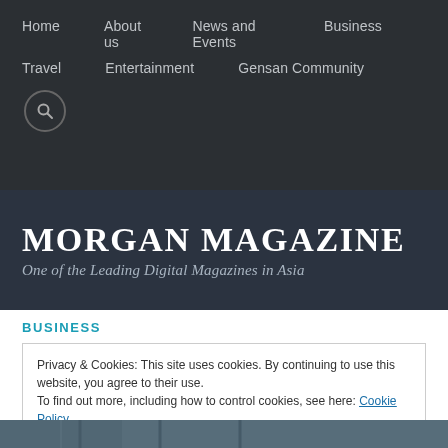Home  About us  News and Events  Business  Travel  Entertainment  Gensan Community
MORGAN MAGAZINE
One of the Leading Digital Magazines in Asia
BUSINESS
Privacy & Cookies: This site uses cookies. By continuing to use this website, you agree to their use.
To find out more, including how to control cookies, see here: Cookie Policy
Close and accept
[Figure (photo): Bottom strip showing building facade photo thumbnail]